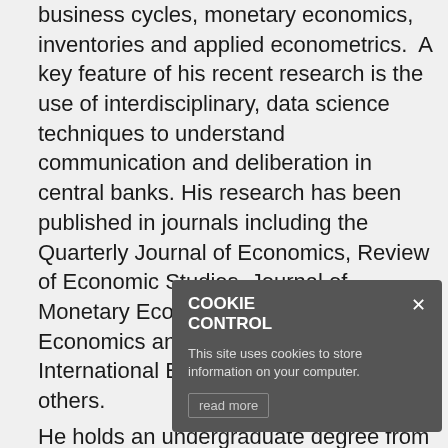business cycles, monetary economics, inventories and applied econometrics.  A key feature of his recent research is the use of interdisciplinary, data science techniques to understand communication and deliberation in central banks. His research has been published in journals including the Quarterly Journal of Economics, Review of Economic Studies, Journal of Monetary Economics, Review of Economics and Statistics, Journal of International Economics and numerous others.
He holds an undergraduate degree from Trinity College Dublin, and MSc, MRes, and PhD degrees from the London School of Economics.
Personal site
Follow me on Twitter and Academia on LinkedIn
[Figure (screenshot): Cookie Control popup overlay with title 'COOKIE CONTROL', close button X, body text 'This site uses cookies to store information on your computer.', and a 'read more' button. Dark gray background.]